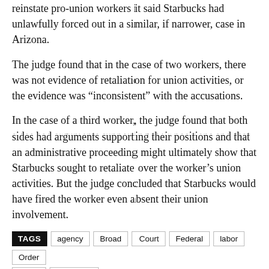reinstate pro-union workers it said Starbucks had unlawfully forced out in a similar, if narrower, case in Arizona.
The judge found that in the case of two workers, there was not evidence of retaliation for union activities, or the evidence was “Inconsistent” with the accusations.
In the case of a third worker, the judge found that both sides had arguments supporting their positions and that an administrative proceeding might ultimately show that Starbucks sought to retaliate over the worker’s union activities. But the judge concluded that Starbucks would have fired the worker even absent their union involvement.
TAGS agency Broad Court Federal labor Order seeks Starbucks